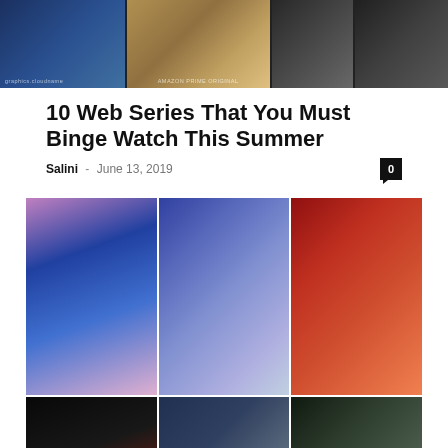[Figure (photo): Collage banner image for web series article showing TV characters from Amazon Prime Original]
10 Web Series That You Must Binge Watch This Summer
Salini – June 13, 2019
[Figure (photo): Collage of 6 photos showing Japanese festival scenes with dancers, mikoshi, lanterns, and crowds]
10 Interesting Japanese Festivals
Salini – May 31, 2019